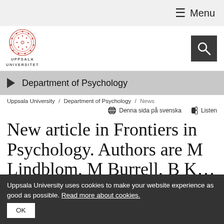≡ Menu
[Figure (logo): Uppsala Universitet seal/logo with text UPPSALA UNIVERSITET]
[Figure (other): Search button (magnifying glass icon on dark background)]
Department of Psychology
Uppsala University / Department of Psychology / News
Denna sida på svenska   Listen
New article in Frontiers in Psychology. Authors are M Lindblom, M Burrell, B K... (truncated)
Uppsala University uses cookies to make your website experience as good as possible. Read more about cookies.